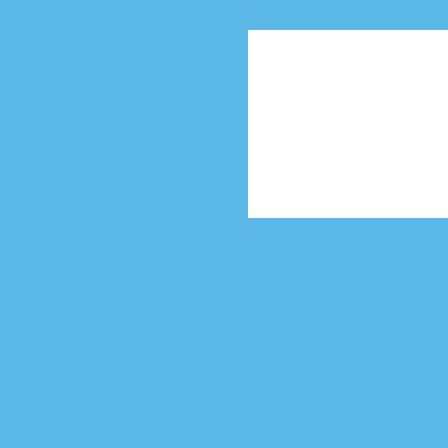[Figure (screenshot): Wopular news aggregator website screenshot showing logo, search box, navigation bar with Home, World, U.S., Politics, Business, Movies, Books, Enter... tabs, article headline 'Comment on Biden offers logistics support to ease ... shortage', and social sharing bar with email, Tweet, and Share buttons]
Wopular
Search news sites, videos & photos
Home | World | U.S. | Politics | Business | Movies | Books | Enter...
Comment on Biden offers logistics support to ease ... shortage
Tweet   Share